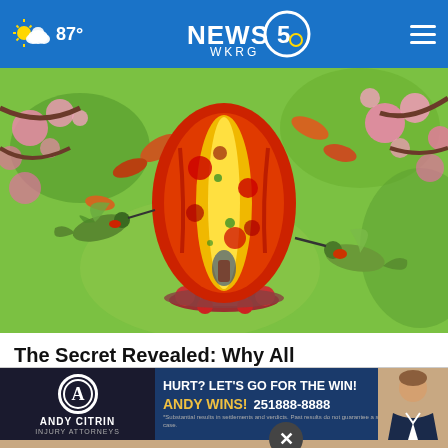87° NEWS 5 WKRG
[Figure (photo): A colorful hand-blown glass hummingbird feeder with red, yellow, orange colors shaped like an egg, surrounded by pink blossoms and green foliage, with two hummingbirds hovering near it]
The Secret Revealed: Why All Hummingbirds Go to My Neighbor's Garden
Shere
[Figure (infographic): Advertisement for Andy Citrin Injury Attorneys: HURT? LET'S GO FOR THE WIN! ANDY WINS! 251-888-8888, with Andy Citrin logo and photo of attorney]